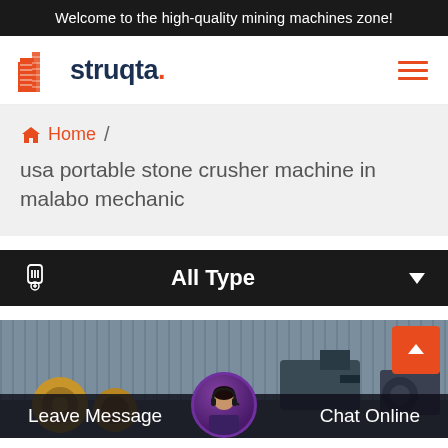Welcome to the high-quality mining machines zone!
[Figure (logo): Struqta company logo with orange building icon and dark navy text]
Home / usa portable stone crusher machine in malabo mechanic
All Type
[Figure (photo): Industrial mining machinery equipment in a warehouse setting]
Leave Message
Chat Online